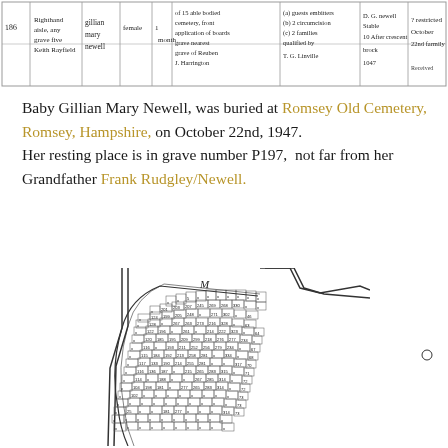[Figure (table-as-image): Handwritten cemetery register entry for Gillian Mary Newell, showing columns with handwritten entries including name, date, grave details, and other burial record information.]
Baby Gillian Mary Newell, was buried at Romsey Old Cemetery, Romsey, Hampshire, on October 22nd, 1947.
Her resting place is in grave number P197, not far from her Grandfather Frank Rudgley/Newell.
[Figure (map): A hand-drawn map/plan of a cemetery section showing numbered grave plots arranged in a curved layout, with a section marked 'M' at the top and various numbered plots visible.]